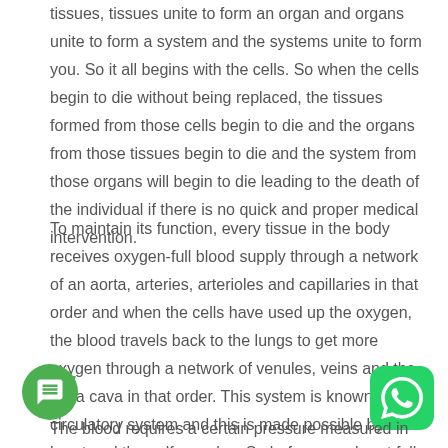tissues, tissues unite to form an organ and organs unite to form a system and the systems unite to form you. So it all begins with the cells. So when the cells begin to die without being replaced, the tissues formed from those cells begin to die and the organs from those tissues begin to die and the system from those organs will begin to die leading to the death of the individual if there is no quick and proper medical intervention.
To maintain its function, every tissue in the body receives oxygen-full blood supply through a network of an aorta, arteries, arterioles and capillaries in that order and when the cells have used up the oxygen, the blood travels back to the lungs to get more oxygen through a network of venules, veins and the vena cava in that order. This system is known as the circulatory system and this is made possible by the heart and the calf muscles. So before your heart falls in love, it primary purpose is to pump blood.
The blood requires a certain pressure measured in Millimeter